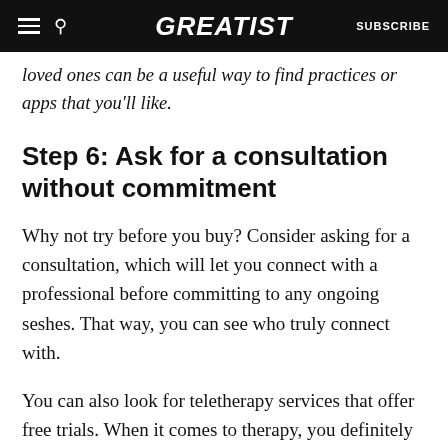GREATIST | SUBSCRIBE
loved ones can be a useful way to find practices or apps that you'll like.
Step 6: Ask for a consultation without commitment
Why not try before you buy? Consider asking for a consultation, which will let you connect with a professional before committing to any ongoing seshes. That way, you can see who truly connect with.
You can also look for teletherapy services that offer free trials. When it comes to therapy, you definitely